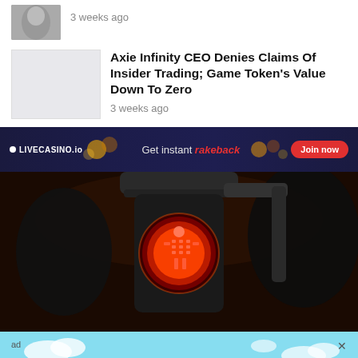[Figure (photo): Partial thumbnail of a person's face/photo, cropped at top]
3 weeks ago
[Figure (photo): Article thumbnail placeholder with light gray background]
Axie Infinity CEO Denies Claims Of Insider Trading; Game Token's Value Down To Zero
3 weeks ago
[Figure (screenshot): LIVECASINO.io advertisement banner: Get instant rakeback — Join now]
[Figure (photo): Photograph of a red pedestrian traffic light signal showing a glowing red walk/stop figure]
[Figure (screenshot): Tamadoge advertisement banner: Tamadoge 100k Giveaway — ENTER NOW button]